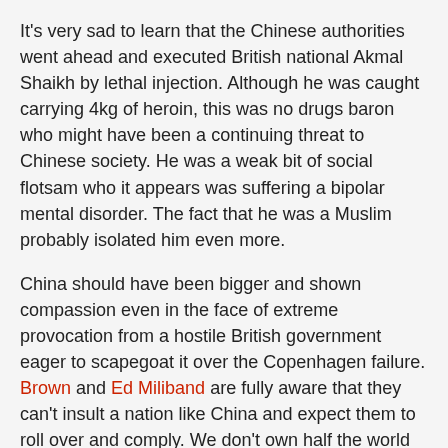It's very sad to learn that the Chinese authorities went ahead and executed British national Akmal Shaikh by lethal injection. Although he was caught carrying 4kg of heroin, this was no drugs baron who might have been a continuing threat to Chinese society. He was a weak bit of social flotsam who it appears was suffering a bipolar mental disorder. The fact that he was a Muslim probably isolated him even more.
China should have been bigger and shown compassion even in the face of extreme provocation from a hostile British government eager to scapegoat it over the Copenhagen failure. Brown and Ed Miliband are fully aware that they can't insult a nation like China and expect them to roll over and comply. We don't own half the world any more and Brits with drugs in China are likely to press some deep buttons especially in the light of current hostilities and past history.
Under different circumstances there was more than enough of an excuse for China to show leniency. Fahim wrote in an online discussion: